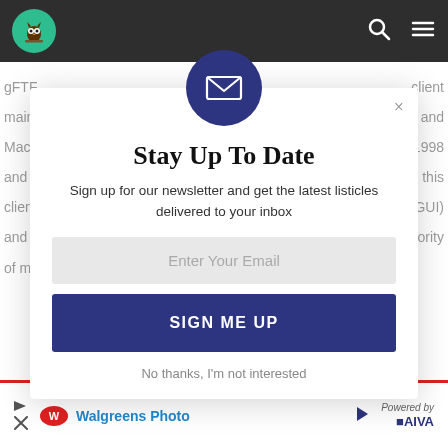[Figure (screenshot): Website navigation bar with owl logo on green circle background, search icon, and hamburger menu on dark background]
[Figure (screenshot): Email newsletter signup modal overlay with envelope icon, title 'Stay Up To Date', subtitle, email input field, and sign me up button]
Stay Up To Date
Sign up for our newsletter and get the latest listicles delivered to your inbox
Enter Your Email
SIGN ME UP
No thanks, I'm not interested
[Figure (screenshot): Walgreens Photo advertisement banner at the bottom of the page with AIVA powered by logo]